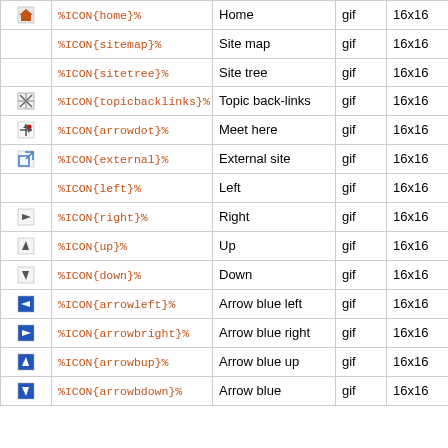|  | Code | Name | Type | Size |  |
| --- | --- | --- | --- | --- | --- |
| [home icon] | %ICON{home}% | Home | gif | 16x16 |  |
|  | %ICON{sitemap}% | Site map | gif | 16x16 |  |
|  | %ICON{sitetree}% | Site tree | gif | 16x16 |  |
| [topicbacklinks icon] | %ICON{topicbacklinks}% | Topic back-links | gif | 16x16 |  |
| [arrowdot icon] | %ICON{arrowdot}% | Meet here | gif | 16x16 |  |
| [external icon] | %ICON{external}% | External site | gif | 16x16 |  |
|  | %ICON{left}% | Left | gif | 16x16 |  |
| [right icon] | %ICON{right}% | Right | gif | 16x16 |  |
| [up icon] | %ICON{up}% | Up | gif | 16x16 |  |
| [down icon] | %ICON{down}% | Down | gif | 16x16 |  |
| [arrowleft icon] | %ICON{arrowleft}% | Arrow blue left | gif | 16x16 |  |
| [arrowright icon] | %ICON{arrowright}% | Arrow blue right | gif | 16x16 |  |
| [arrowbup icon] | %ICON{arrowbup}% | Arrow blue up | gif | 16x16 |  |
| [arrowbdown icon] | %ICON{arrowbdown}% | Arrow blue | gif | 16x16 |  |